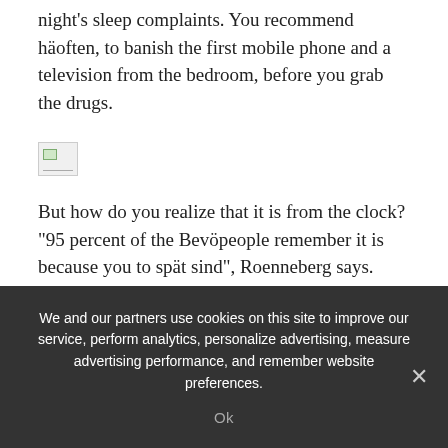night's sleep complaints. You recommend häoften, to banish the first mobile phone and a television from the bedroom, before you grab the drugs.
[Figure (photo): A broken/missing image placeholder icon]
But how do you realize that it is from the clock? "95 percent of the Bevöpeople remember it is because you to spät sind", Roenneberg says. Those who need a morning alarm clock, don't live in accordance with the internal clock.
Natüfearful light is important
Especially in the dark autumn and Winter, but many
We and our partners use cookies on this site to improve our service, perform analytics, personalize advertising, measure advertising performance, and remember website preferences.